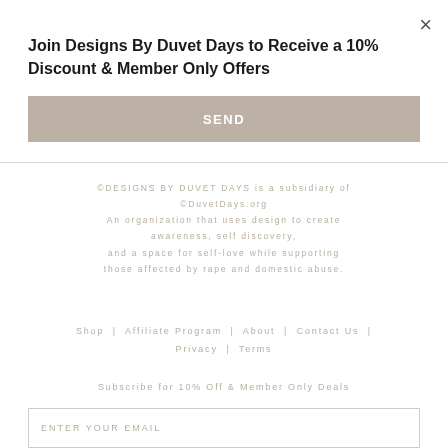×
Join Designs By Duvet Days to Receive a 10% Discount & Member Only Offers
SEND
©DESIGNS BY DUVET DAYS is a subsidiary of ©DuvetDays.org
An organization that uses design to create awareness, self discovery,
and a space for self-love while supporting those affected by rape and domestic abuse.
Shop | Affiliate Program | About | Contact Us | Privacy | Terms
Subscribe for 10% Off & Member Only Deals
ENTER YOUR EMAIL